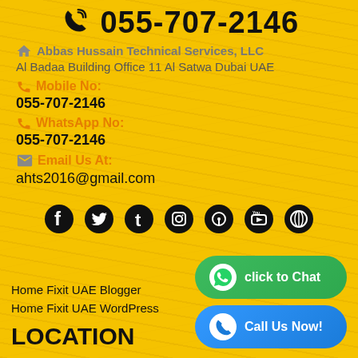055-707-2146
Abbas Hussain Technical Services, LLC
Al Badaa Building Office 11 Al Satwa Dubai UAE
Mobile No: 055-707-2146
WhatsApp No: 055-707-2146
Email Us At: ahts2016@gmail.com
[Figure (illustration): Social media icons row: Facebook, Twitter, Tumblr, Instagram, Pinterest, YouTube, WordPress]
Home Fixit UAE Blogger
Home Fixit UAE WordPress
LOCATION
click to Chat
Call Us Now!